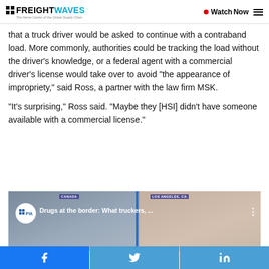FREIGHTWAVES — The Nerve Center of the Global Supply Chain | Watch Now
that a truck driver would be asked to continue with a contraband load. More commonly, authorities could be tracking the load without the driver's knowledge, or a federal agent with a commercial driver's license would take over to avoid “the appearance of impropriety,” said Ross, a partner with the law firm MSK.
“It’s surprising,” Ross said. “Maybe they [HSI] didn’t have someone available with a commercial license.”
[Figure (screenshot): FreightWaves video thumbnail titled 'Drugs at the border: What truckers, ...' showing two people in a split-screen video call with CANADA and LOS ANGELES, CA location labels]
Social share bar: Facebook, Twitter, LinkedIn